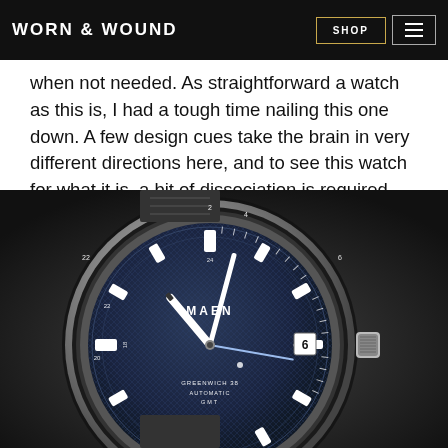WORN & WOUND | SHOP
when not needed. As straightforward a watch as this is, I had a tough time nailing this one down. A few design cues take the brain in very different directions here, and to see this watch for what it is, a bit of dissociation is required.
[Figure (photo): Close-up photograph of a MAEN Greenwich 38 Automatic GMT watch with blue textured dial, white rectangular hour markers, white hands, date window at 3 o'clock showing 6, and a stainless steel bezel and bracelet.]